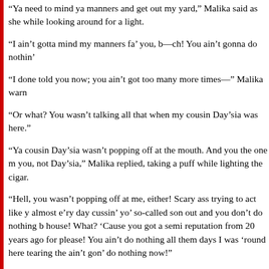“Ya need to mind ya manners and get out my yard,” Malika said as she while looking around for a light.
“I ain’t gotta mind my manners fa’ you, b—ch! You ain’t gonna do nothin’
“I done told you now; you ain’t got too many more times—” Malika warn
“Or what? You wasn’t talking all that when my cousin Day’sia was here.”
“Ya cousin Day’sia wasn’t popping off at the mouth. And you the one m you, not Day’sia,” Malika replied, taking a puff while lighting the cigar.
“Hell, you wasn’t popping off at me, either! Scary ass trying to act like y almost e’ry day cussin’ yo’ so-called son out and you don’t do nothing b house! What? ‘Cause you got a semi reputation from 20 years ago for please! You ain’t do nothing all them days I was ‘round here tearing the ain’t gon’ do nothing now!”
“Or maybe you just didn’t come ‘round on a good day—like today. Tod husband, Hooch tell me we ain’t workin’ out, just had my son tell me wha to be a gift is really a curse, kids want us to be a family—husband war “you popping off on a good day,” Malika said, puffing the cigar and then crazy, eyes bugged.
“Look, look, look, I don’t wanna hear ya damn problems and I’m tired of Talks of his car... I wish you were dead. Mama shall” I said to her